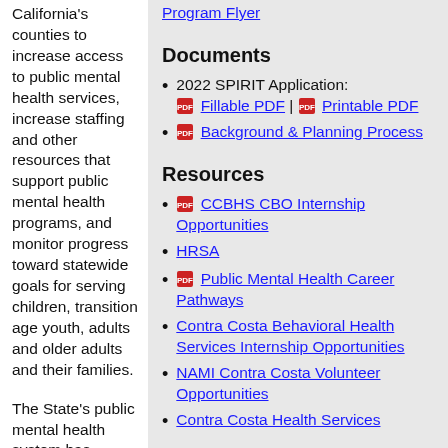California's counties to increase access to public mental health services, increase staffing and other resources that support public mental health programs, and monitor progress toward statewide goals for serving children, transition age youth, adults and older adults and their families.
The State's public mental health system has
Program Flyer
Documents
2022 SPIRIT Application: Fillable PDF | Printable PDF
Background & Planning Process
Resources
CCBHS CBO Internship Opportunities
HRSA
Public Mental Health Career Pathways
Contra Costa Behavioral Health Services Internship Opportunities
NAMI Contra Costa Volunteer Opportunities
Contra Costa Health Services